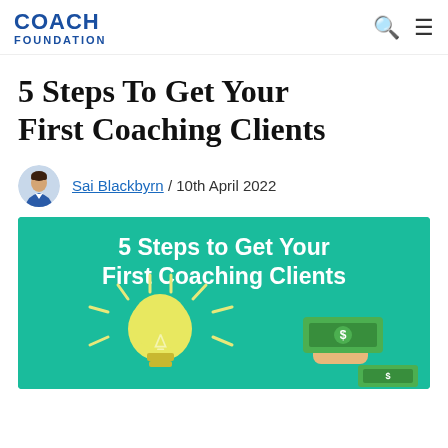COACH FOUNDATION
5 Steps To Get Your First Coaching Clients
Sai Blackbyrn / 10th April 2022
[Figure (illustration): Infographic banner with teal background showing text '5 Steps to Get Your First Coaching Clients' with a large yellow lightbulb and a hand holding dollar bills]